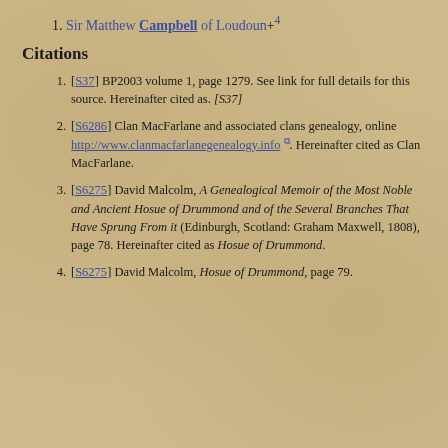Sir Matthew Campbell of Loudoun+4
Citations
[S37] BP2003 volume 1, page 1279. See link for full details for this source. Hereinafter cited as. [S37]
[S6286] Clan MacFarlane and associated clans genealogy, online http://www.clanmacfarlanegenealogy.info. Hereinafter cited as Clan MacFarlane.
[S6275] David Malcolm, A Genealogical Memoir of the Most Noble and Ancient Hosue of Drummond and of the Several Branches That Have Sprung From it (Edinburgh, Scotland: Graham Maxwell, 1808), page 78. Hereinafter cited as Hosue of Drummond.
[S6275] David Malcolm, Hosue of Drummond, page 79.